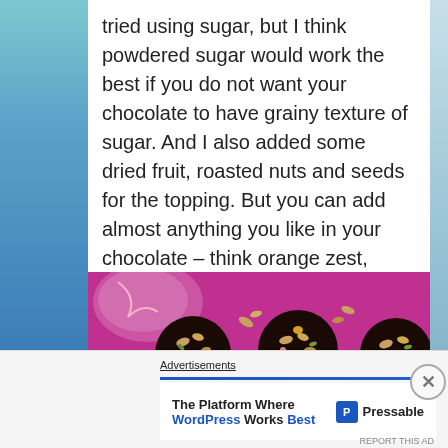tried using sugar, but I think powdered sugar would work the best if you do not want your chocolate to have grainy texture of sugar. And I also added some dried fruit, roasted nuts and seeds for the topping. But you can add almost anything you like in your chocolate – think orange zest, cacao nibs, desiccated coconut, sea salt flakes, just to name a few.
[Figure (photo): Overhead view of chocolate discs topped with nuts and seeds on a pink/magenta background, with a plastic bag of nuts visible in upper left corner]
Advertisements
The Platform Where WordPress Works Best — Pressable (advertisement)